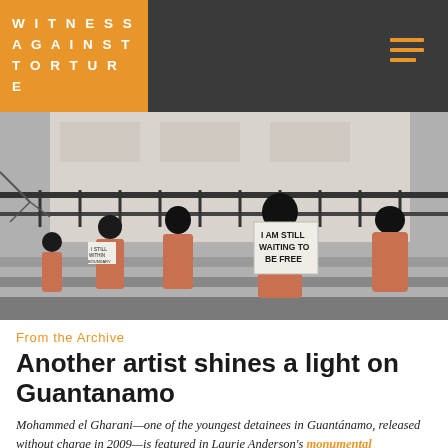WITNESS AGAINST TORTURE
[Figure (photo): Protesters dressed in orange jumpsuits and black hoods, seated on outdoor steps holding signs. One sign reads 'I AM STILL WAITING TO BE FREE'.]
From the Archive
Another artist shines a light on Guantanamo
Mohammed el Gharani—one of the youngest detainees in Guantánamo, released without charge in 2009—is featured in Laurie Anderson's monumental installation Habeas Corpus (2015), now on view at the Hirshhorn Museum in DC. If you can't experience the powerful bodega in person — the side titled #2015 — El